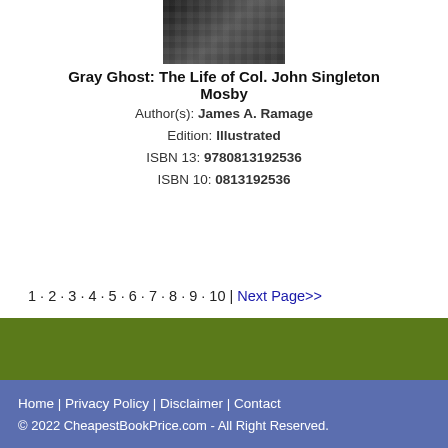[Figure (photo): Book cover of Gray Ghost: The Life of Col. John Singleton Mosby, showing a dark textured cover]
Gray Ghost: The Life of Col. John Singleton Mosby
Author(s): James A. Ramage
Edition: Illustrated
ISBN 13: 9780813192536
ISBN 10: 0813192536
[Figure (other): COMPARE PRICE button in orange/yellow rounded rectangle]
1 · 2 · 3 · 4 · 5 · 6 · 7 · 8 · 9 · 10 | Next Page>>
Home | Privacy Policy | Disclaimer | Contact
© 2022 CheapestBookPrice.com - All Right Reserved.